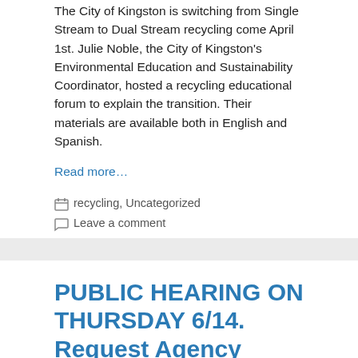The City of Kingston is switching from Single Stream to Dual Stream recycling come April 1st. Julie Noble, the City of Kingston's Environmental Education and Sustainability Coordinator,  hosted a recycling educational forum to explain the transition.  Their materials are available both in English and Spanish.
Read more…
recycling, Uncategorized
Leave a comment
PUBLIC HEARING ON THURSDAY 6/14. Request Agency Postpone Vote on Increase in Single-Stream Tipping Fees.
June 12, 2018